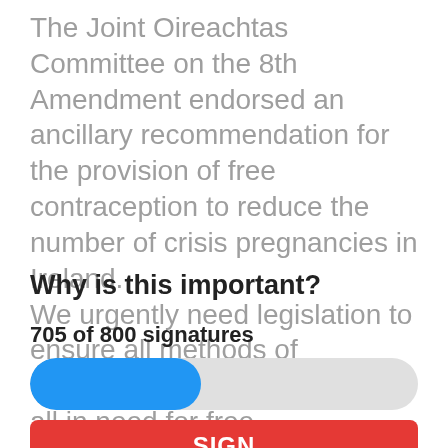The Joint Oireachtas Committee on the 8th Amendment endorsed an ancillary recommendation for the provision of free contraception to reduce the number of crisis pregnancies in Ireland. We urgently need legislation to ensure all methods of contraception are available to all in need for free.
Why is this important?
705 of 800 signatures
[Figure (other): Progress bar showing 705 of 800 signatures filled (approximately 44% filled in blue, remainder in light grey), with rounded ends]
SIGN